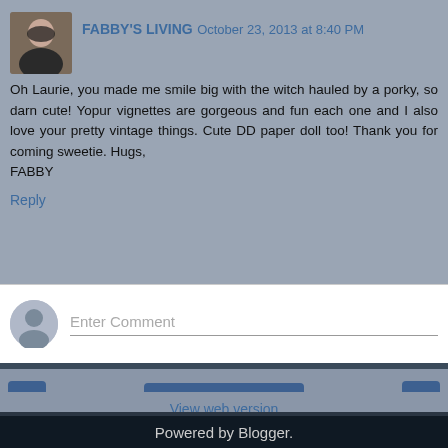FABBY'S LIVING October 23, 2013 at 8:40 PM
Oh Laurie, you made me smile big with the witch hauled by a porky, so darn cute! Yopur vignettes are gorgeous and fun each one and I also love your pretty vintage things. Cute DD paper doll too! Thank you for coming sweetie. Hugs,
FABBY
Reply
[Figure (screenshot): Enter Comment input box with user avatar icon]
[Figure (screenshot): Navigation bar with previous arrow button, Home button, and next arrow button]
View web version
Powered by Blogger.